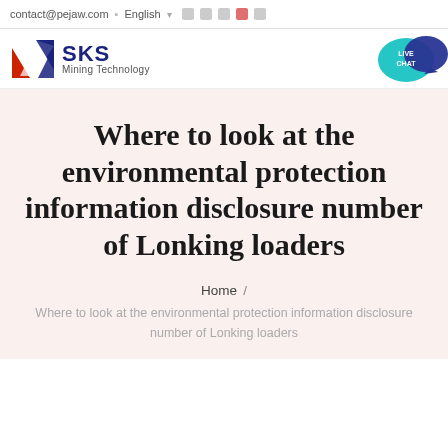contact@pejaw.com  English
[Figure (logo): SKS Mining Technology logo with red and blue angular shield icon, brand name SKS in dark blue, subtitle Mining Technology]
[Figure (illustration): Live Chat bubble icon in teal/cyan color with dark blue speech bubble overlay]
Where to look at the environmental protection information disclosure number of Lonking loaders
Home / Where to look at the environmental protection information disclosure number of Lonking loaders